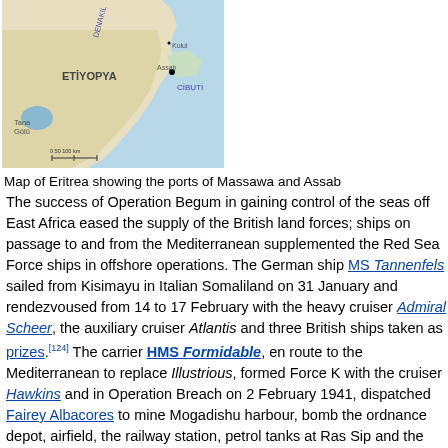[Figure (map): Map of Eritrea showing the ports of Massawa and Assab, with surrounding regions including ETİYOPYA (Ethiopia), CİBUTİ (Djibouti), DENAKIL, and locations like Kulul, Assab, Tana Gölü marked.]
Map of Eritrea showing the ports of Massawa and Assab
The success of Operation Begum in gaining control of the seas off East Africa eased the supply of the British land forces; ships on passage to and from the Mediterranean supplemented the Red Sea Force ships in offshore operations. The German ship MS Tannenfels sailed from Kisimayu in Italian Somaliland on 31 January and rendezvoused from 14 to 17 February with the heavy cruiser Admiral Scheer, the auxiliary cruiser Atlantis and three British ships taken as prizes.[124] The carrier HMS Formidable, en route to the Mediterranean to replace Illustrious, formed Force K with the cruiser Hawkins and in Operation Breach on 2 February 1941, dispatched Fairey Albacores to mine Mogadishu harbour, bomb the ordnance depot, airfield, the railway station, petrol tanks at Ras Sip and the customs shed. The cruisers Shropshire, Ceres and Colombo blockaded Kisimayu and in the Red Sea, Pantera, Tigre and Leone based at Massawa in Eritrea made another fruitless sortie.[125][1]